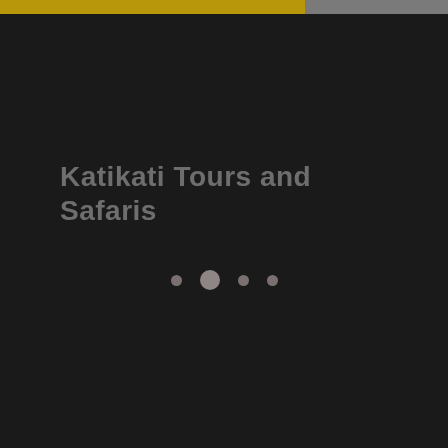[Figure (other): Top navigation bar with gold/yellow left section and gray right section on dark background]
Katikati Tours and Safaris
[Figure (other): Four circular dots navigation indicator, second dot is larger (active state), others are smaller]